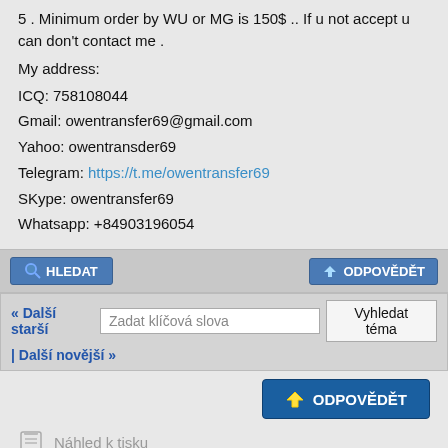5 . Minimum order by WU or MG is 150$ .. If u not accept u can don't contact me .
My address:
ICQ: 758108044
Gmail: owentransfer69@gmail.com
Yahoo: owentransder69
Telegram: https://t.me/owentransfer69
SKype: owentransfer69
Whatsapp: +84903196054
HLEDAT | ODPOVĚDĚT
« Další starší | Další novější » | Zadat klíčová slova | Vyhledat téma
ODPOVĚDĚT
Náhled k tisku
Odeslat téma příteli
Odebírat téma